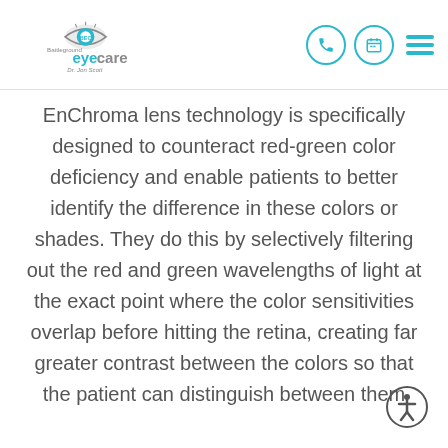[Figure (logo): Battleground Eyecare logo with BEC eye icon and Dr. Jon Scott text]
EnChroma lens technology is specifically designed to counteract red-green color deficiency and enable patients to better identify the difference in these colors or shades. They do this by selectively filtering out the red and green wavelengths of light at the exact point where the color sensitivities overlap before hitting the retina, creating far greater contrast between the colors so that the patient can distinguish between them